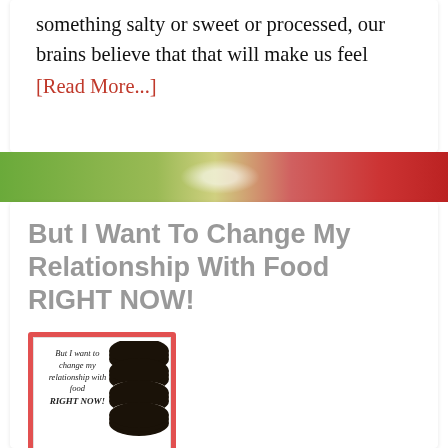something salty or sweet or processed, our brains believe that that will make us feel
[Read More...]
[Figure (photo): A colorful background strip with green on the left and red on the right, suggesting fruits or vegetables.]
But I Want To Change My Relationship With Food RIGHT NOW!
[Figure (illustration): A book cover with red background showing stacked chocolate sandwich cookies and italic text reading 'But I want to change my relationship with food RIGHT NOW' with 'Your Highest Self Coaching' at the bottom.]